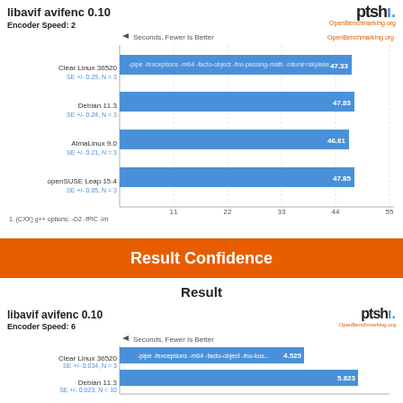libavif avifenc 0.10
Encoder Speed: 2
[Figure (bar-chart): libavif avifenc 0.10 - Encoder Speed: 2]
1. (CXX) g++ options: -O2 -fPIC -lm
Result Confidence
Result
libavif avifenc 0.10
Encoder Speed: 6
[Figure (bar-chart): libavif avifenc 0.10 - Encoder Speed: 6]